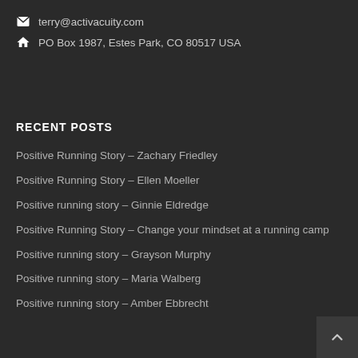terry@activacuity.com
PO Box 1987, Estes Park, CO 80517 USA
RECENT POSTS
Positive Running Story – Zachary Friedley
Positive Running Story – Ellen Moeller
Positive running story – Ginnie Eldredge
Positive Running Story – Change your mindset at a running camp
Positive running story – Grayson Murphy
Positive running story – Maria Walberg
Positive running story – Amber Ebbrecht